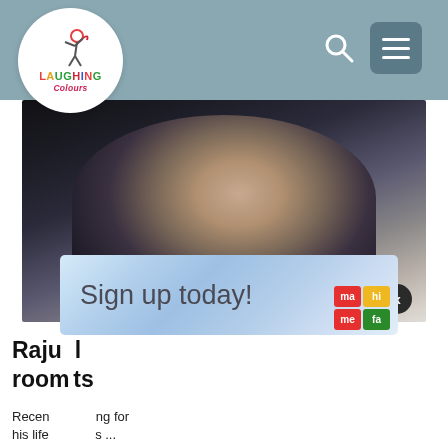Laughing Colours
[Figure (photo): Man in black outfit laughing, hands behind head, wearing gold bracelet and watch]
ADVERTISEMENT
Raju ... l room ... ts
Recen... ng for his life s ...